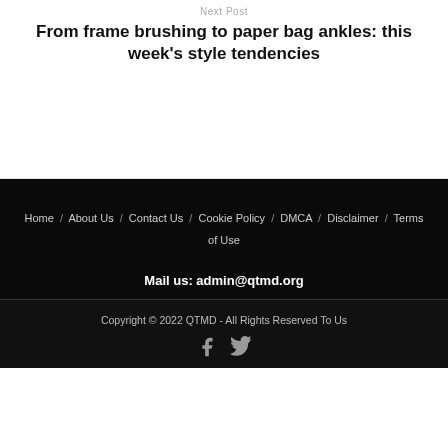Next Post
From frame brushing to paper bag ankles: this week's style tendencies
Home / About Us / Contact Us / Cookie Policy / DMCA / Disclaimer / Terms of Use
Mail us: admin@qtmd.org
Copyright © 2022 QTMD - All Rights Reserved To Us